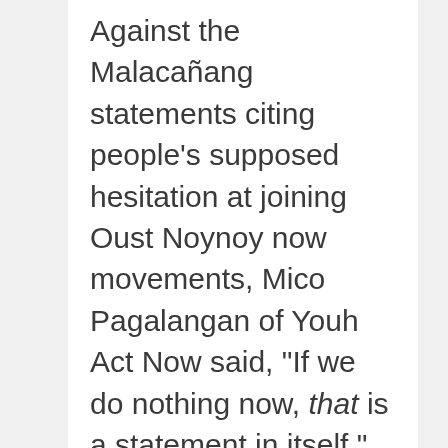Against the Malacañang statements citing people's supposed hesitation at joining Oust Noynoy now movements, Mico Pagalangan of Youh Act Now said, “If we do nothing now, that is a statement in itself.”
He urged the youth and the Filipino people not to be swayed into staying silent over Aquino’s fatal flaws as leader just because Aquino has only 15 months left in his term.